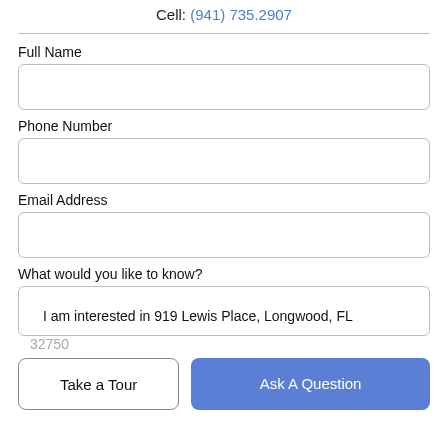Cell: (941) 735.2907
Full Name
Phone Number
Email Address
What would you like to know?
I am interested in 919 Lewis Place, Longwood, FL 32750
Take a Tour
Ask A Question